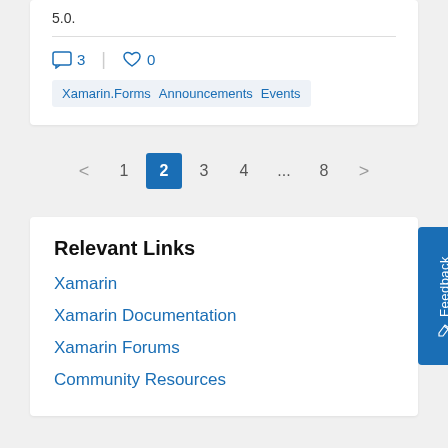5.0.
3  0
Xamarin.Forms  Announcements  Events
< 1 2 3 4 ... 8 >
Relevant Links
Xamarin
Xamarin Documentation
Xamarin Forums
Community Resources